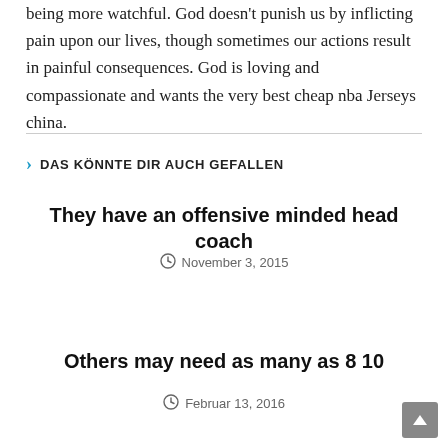being more watchful. God doesn't punish us by inflicting pain upon our lives, though sometimes our actions result in painful consequences. God is loving and compassionate and wants the very best cheap nba Jerseys china.
DAS KÖNNTE DIR AUCH GEFALLEN
They have an offensive minded head coach
November 3, 2015
Others may need as many as 8 10
Februar 13, 2016